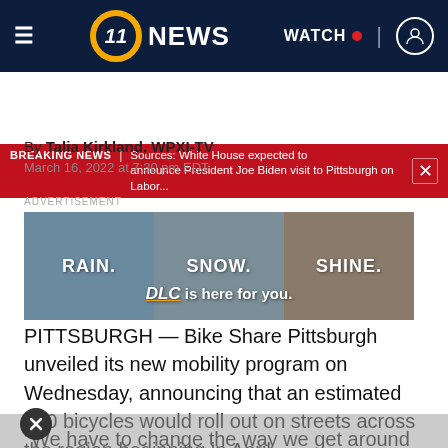≡  11 NEWS  WATCH •  [user icon]
BREAKING NEWS | Sources: White House expected to announce President Joe Biden visit to Pittsburgh on Labor...
By Talia Kirkland, WPXI-TV
March 16, 2022 at 7:30 pm EDT
[Figure (other): Advertisement banner: RAIN. SNOW. SHINE. DLC is here for you.]
PITTSBURGH — Bike Share Pittsburgh unveiled its new mobility program on Wednesday, announcing that an estimated 400 bicycles would roll out on streets across the region beginning in April.
“We have to change the way we get around in our